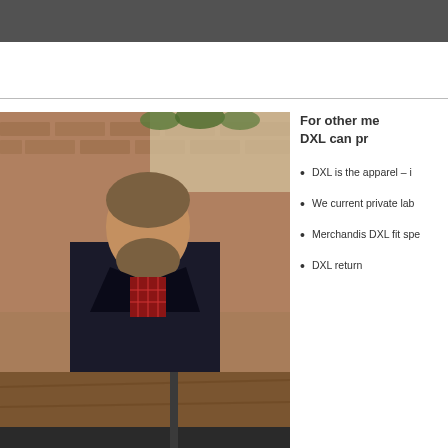[Figure (photo): Top image strip - dark/grey banner at the top of the page]
[Figure (photo): A large bearded man wearing a dark blazer over a red plaid shirt, standing in a brick-walled room with wooden floors, leaning on a railing]
For other me DXL can pr
DXL is the apparel – i
We current private lab
Merchandis DXL fit spe
DXL return